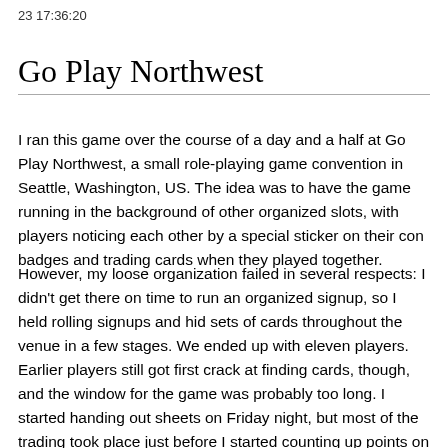23 17:36:20
Go Play Northwest
I ran this game over the course of a day and a half at Go Play Northwest, a small role-playing game convention in Seattle, Washington, US. The idea was to have the game running in the background of other organized slots, with players noticing each other by a special sticker on their con badges and trading cards when they played together.
However, my loose organization failed in several respects: I didn't get there on time to run an organized signup, so I held rolling signups and hid sets of cards throughout the venue in a few stages. We ended up with eleven players. Earlier players still got first crack at finding cards, though, and the window for the game was probably too long. I started handing out sheets on Friday night, but most of the trading took place just before I started counting up points on Sunday morning.